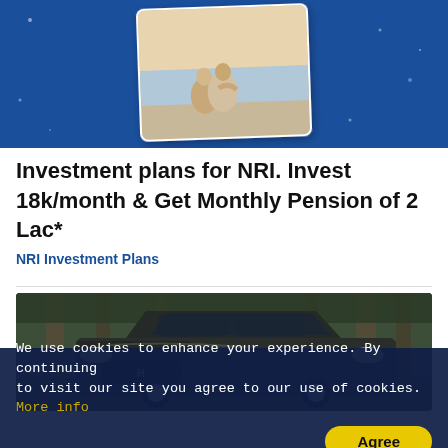[Figure (photo): Blue banner with a photo of an elderly couple sitting together looking at the sea, displayed on a white card with slight rotation]
Investment plans for NRI. Invest 18k/month & Get Monthly Pension of 2 Lac*
NRI Investment Plans
[Figure (photo): A dark Hyundai SUV photographed from the front among trees in a forest setting]
We use cookies to enhance your experience. By continuing to visit our site you agree to our use of cookies. More info